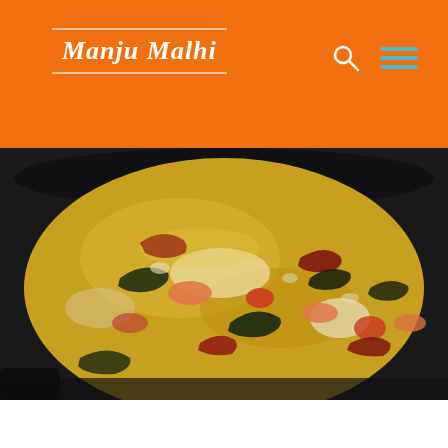Manju Malhi
[Figure (photo): Close-up overhead photo of a curry dish cooking in a dark pan, showing a yellow/golden sauce with shrimp, tomatoes, dried red chilies, and curry leaves]